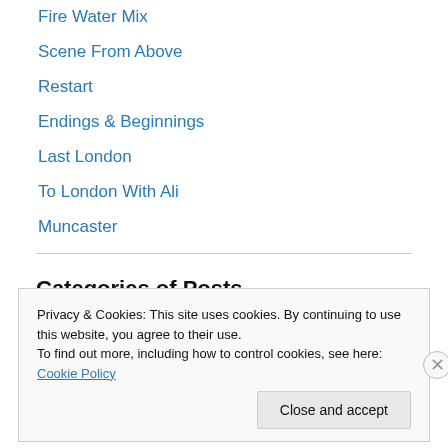Fire Water Mix
Scene From Above
Restart
Endings & Beginnings
Last London
To London With Ali
Muncaster
Categories of Posts
Select Category
Privacy & Cookies: This site uses cookies. By continuing to use this website, you agree to their use.
To find out more, including how to control cookies, see here: Cookie Policy
Close and accept